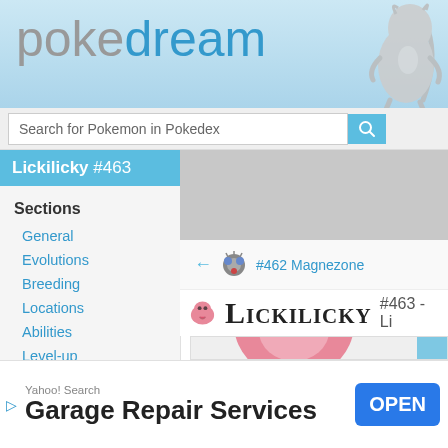pokedream - header banner with logo and Mewtwo illustration
Search for Pokemon in Pokedex
Lickilicky #463
Sections
General
Evolutions
Breeding
Locations
Abilities
Level-up
Moves
TMs/HMs
Egg Moves
Stats
[Figure (screenshot): Gray advertisement placeholder banner]
← #462 Magnezone
LICKILICKY #463 - Li
[Figure (illustration): Lickilicky pink Pokemon illustration]
Yahoo! Search - Garage Repair Services - OPEN